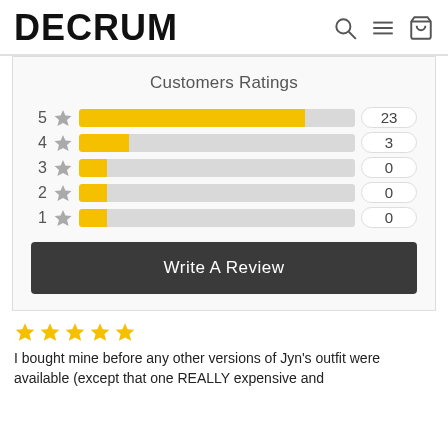DECRUM
Customers Ratings
[Figure (bar-chart): Customers Ratings]
Write A Review
[Figure (other): 5 yellow star rating icons]
I bought mine before any other versions of Jyn's outfit were available (except that one REALLY expensive and